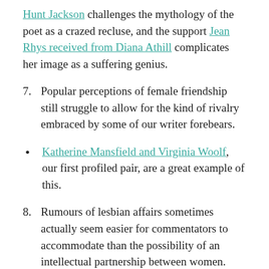Hunt Jackson challenges the mythology of the poet as a crazed recluse, and the support Jean Rhys received from Diana Athill complicates her image as a suffering genius.
7. Popular perceptions of female friendship still struggle to allow for the kind of rivalry embraced by some of our writer forebears.
• Katherine Mansfield and Virginia Woolf, our first profiled pair, are a great example of this.
8. Rumours of lesbian affairs sometimes actually seem easier for commentators to accommodate than the possibility of an intellectual partnership between women.